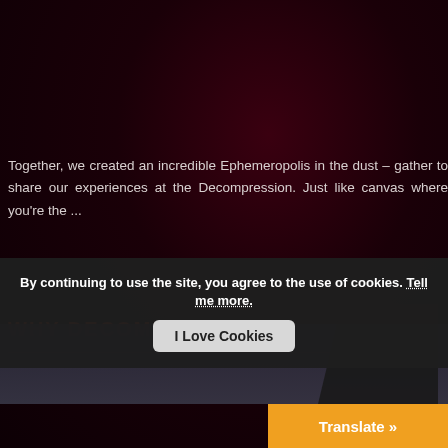Together, we created an incredible Ephemeropolis in the dust – gather to share our experiences at the Decompression. Just like canvas where you're the ...
WHY DECOMPRESSION?
By continuing to use the site, you agree to the use of cookies. Tell me more.
I Love Cookies
Translate »